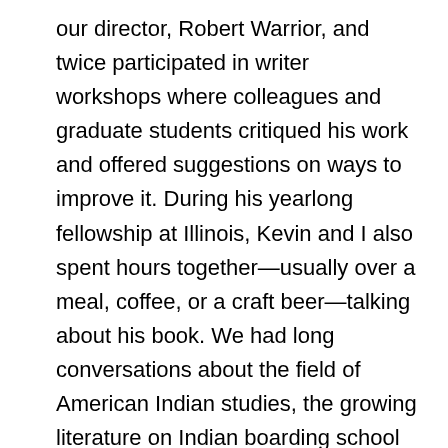our director, Robert Warrior, and twice participated in writer workshops where colleagues and graduate students critiqued his work and offered suggestions on ways to improve it. During his yearlong fellowship at Illinois, Kevin and I also spent hours together—usually over a meal, coffee, or a craft beer—talking about his book. We had long conversations about the field of American Indian studies, the growing literature on Indian boarding school studies, and the important contributions that he was making with his scholarship.
The following book, then, has emerged from numerous spaces, and each of these spaces has